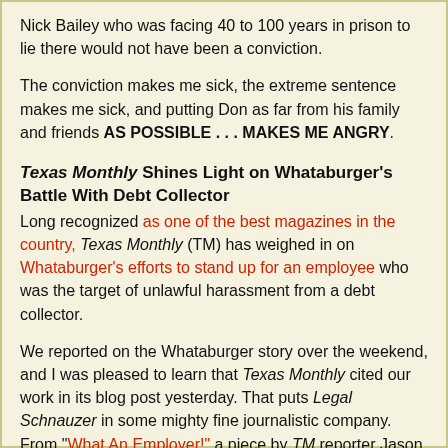Nick Bailey who was facing 40 to 100 years in prison to lie there would not have been a conviction.
The conviction makes me sick, the extreme sentence makes me sick, and putting Don as far from his family and friends AS POSSIBLE . . . MAKES ME ANGRY.
Texas Monthly Shines Light on Whataburger's Battle With Debt Collector
Long recognized as one of the best magazines in the country, Texas Monthly (TM) has weighed in on Whataburger's efforts to stand up for an employee who was the target of unlawful harassment from a debt collector.
We reported on the Whataburger story over the weekend, and I was pleased to learn that Texas Monthly cited our work in its blog post yesterday. That puts Legal Schnauzer in some mighty fine journalistic company. From "What An Employer!" a piece by TM reporter Jason Cohen: